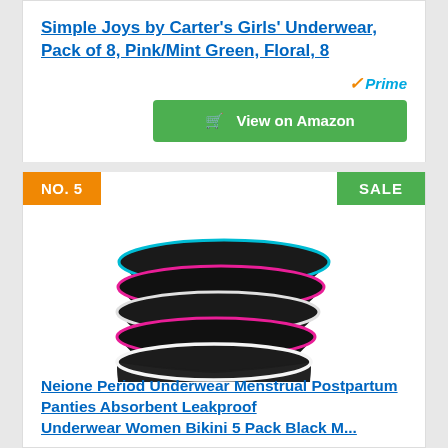Simple Joys by Carter's Girls' Underwear, Pack of 8, Pink/Mint Green, Floral, 8
Prime
View on Amazon
NO. 5
SALE
[Figure (photo): Stack of 5 black bikini underwear with colorful trim (teal, pink, white) fanned out showing multiple pairs]
Neione Period Underwear Menstrual Postpartum Panties Absorbent Leakproof Underwear Women Bikini 5 Pack Black M...